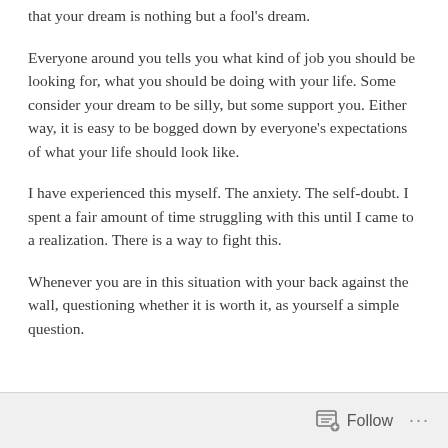that your dream is nothing but a fool's dream.
Everyone around you tells you what kind of job you should be looking for, what you should be doing with your life. Some consider your dream to be silly, but some support you. Either way, it is easy to be bogged down by everyone's expectations of what your life should look like.
I have experienced this myself. The anxiety. The self-doubt. I spent a fair amount of time struggling with this until I came to a realization. There is a way to fight this.
Whenever you are in this situation with your back against the wall, questioning whether it is worth it, as yourself a simple question.
Follow ...